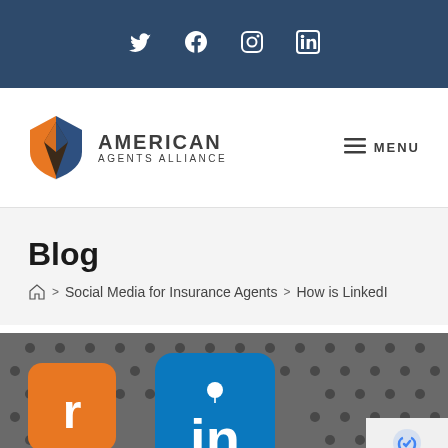Social icons: Twitter, Facebook, Instagram, LinkedIn
[Figure (logo): American Agents Alliance shield logo with orange, blue, and dark brown segments]
AMERICAN AGENTS ALLIANCE
≡ MENU
Blog
Home > Social Media for Insurance Agents > How is LinkedI
[Figure (photo): Close-up photo of a phone screen showing the LinkedIn app icon (blue square with white 'in' letters) among other social media app icons on a metal perforated surface. An orange app icon is partially visible. A privacy/reCAPTCHA badge is in the bottom right corner.]